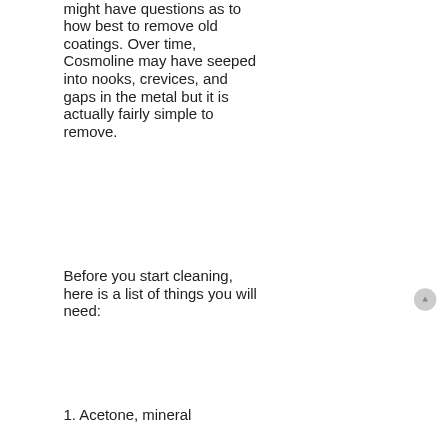might have questions as to how best to remove old coatings. Over time, Cosmoline may have seeped into nooks, crevices, and gaps in the metal but it is actually fairly simple to remove.
Before you start cleaning, here is a list of things you will need:
1. Acetone, mineral